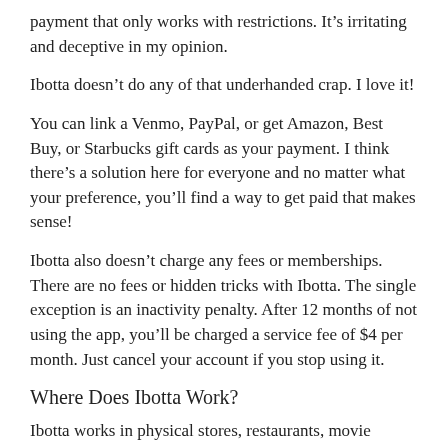payment that only works with restrictions. It's irritating and deceptive in my opinion.
Ibotta doesn't do any of that underhanded crap. I love it!
You can link a Venmo, PayPal, or get Amazon, Best Buy, or Starbucks gift cards as your payment. I think there's a solution here for everyone and no matter what your preference, you'll find a way to get paid that makes sense!
Ibotta also doesn't charge any fees or memberships. There are no fees or hidden tricks with Ibotta. The single exception is an inactivity penalty. After 12 months of not using the app, you'll be charged a service fee of $4 per month. Just cancel your account if you stop using it.
Where Does Ibotta Work?
Ibotta works in physical stores, restaurants, movie theaters, convenience stores and many other places. I was surprised to find supported stores from the local corner gas station, to my chain grocery store back in Michigan.